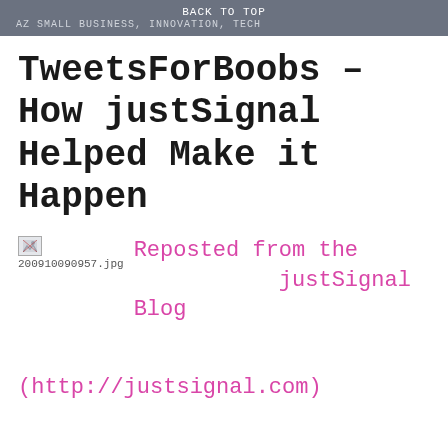BACK TO TOP
AZ SMALL BUSINESS, INNOVATION, TECH
TweetsForBoobs – How justSignal Helped Make it Happen
[Figure (photo): Broken image thumbnail with filename 200910090957.jpg]
Reposted from the justSignal Blog
(http://justsignal.com)